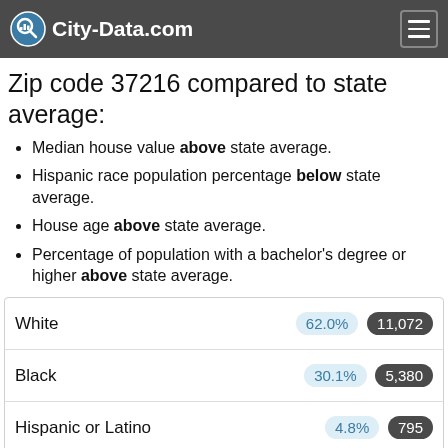City-Data.com
Zip code 37216 compared to state average:
Median house value above state average.
Hispanic race population percentage below state average.
House age above state average.
Percentage of population with a bachelor's degree or higher above state average.
| Race/Ethnicity | Percentage | Count |
| --- | --- | --- |
| White | 62.0% | 11,072 |
| Black | 30.1% | 5,380 |
| Hispanic or Latino | 4.8% | 795 |